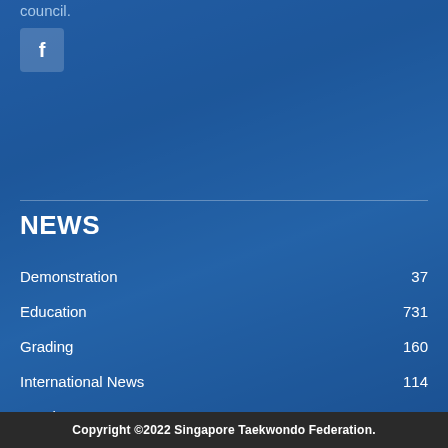council.
[Figure (other): Facebook button icon on blue background]
NEWS
Demonstration  37
Education  731
Grading  160
International News  114
Local News  608
Tournaments (International)  93
Tournaments (Local)  550
Copyright ©2022 Singapore Taekwondo Federation.